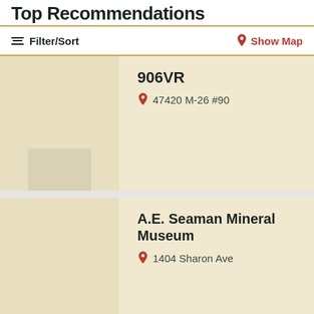Top Recommendations
Filter/Sort
Show Map
906VR
47420 M-26 #90
A.E. Seaman Mineral Museum
1404 Sharon Ave